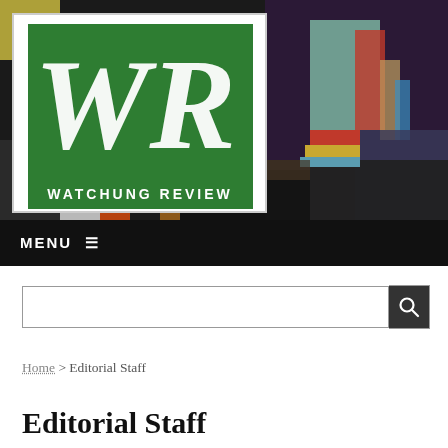[Figure (logo): Watchung Review logo — white square with green square background containing white 'WR' monogram letters, and 'WATCHUNG REVIEW' in small caps below]
[Figure (photo): Colorful abstract painting/artwork forming the background of the header banner, with patches of yellow, dark blue, black, red, teal, orange, and multicolored brushstrokes]
MENU ≡
[Figure (other): Search bar with text input field and magnifying glass search button]
Home > Editorial Staff
Editorial Staff